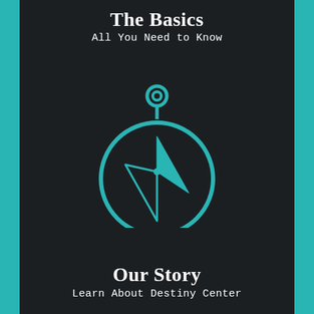The Basics
All You Need to Know
[Figure (illustration): A teal compass icon with a circular outline, crown ring at top, and a compass needle/arrow inside pointing northeast, rendered in teal outline style on dark background.]
Our Story
Learn About Destiny Center